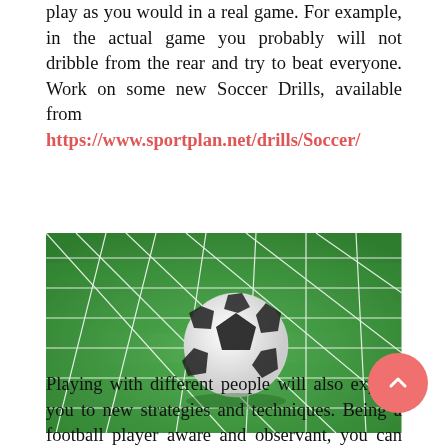play as you would in a real game. For example, in the actual game you probably will not dribble from the rear and try to beat everyone. Work on some new Soccer Drills, available from https://www.sportplan.net/drills/Soccer/
[Figure (photo): A soccer ball hitting the back of a goal net on green grass, viewed from inside the goal.]
Playing with different people will also expose you to new strategies and techniques. Being a football player aware and observant, you can add this